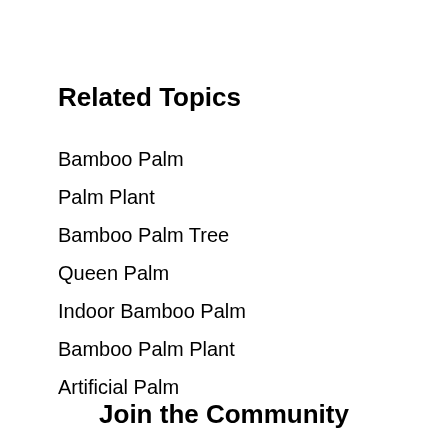Related Topics
Bamboo Palm
Palm Plant
Bamboo Palm Tree
Queen Palm
Indoor Bamboo Palm
Bamboo Palm Plant
Artificial Palm
Join the Community